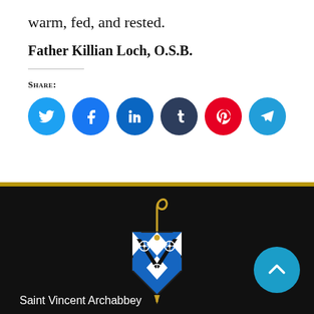warm, fed, and rested.
Father Killian Loch, O.S.B.
Share:
[Figure (other): Six social media share buttons: Twitter (blue), Facebook (blue), LinkedIn (dark blue), Tumblr (dark navy), Pinterest (red), Telegram (light blue)]
[Figure (logo): Saint Vincent Archabbey crest/coat of arms with bishop's staff (crosier) in gold on top, shield with blue and white diamond pattern and black chevron, on dark background]
Saint Vincent Archabbey